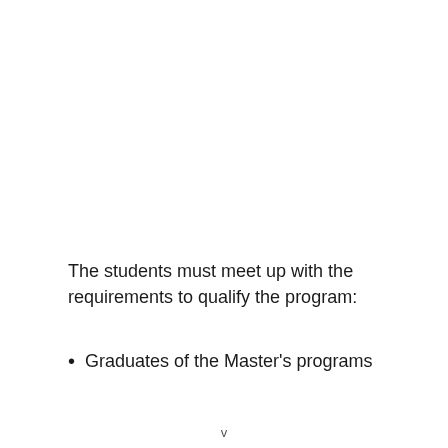The students must meet up with the requirements to qualify the program:
Graduates of the Master's programs
v